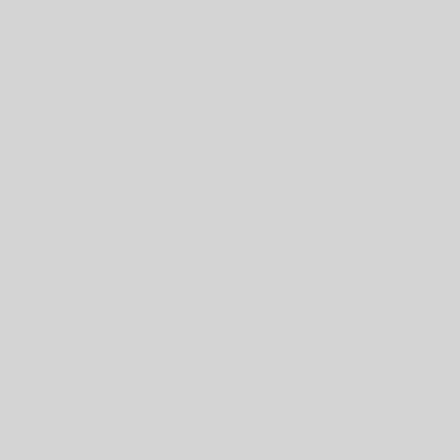know if you have t tunneling, you can isn't strictly requir your VPN server a configuration allo
Loading...
Tavid / Janu
Glad to sha problems to routing.
In ForceTun routable int manually ro For exampl 255.255.255